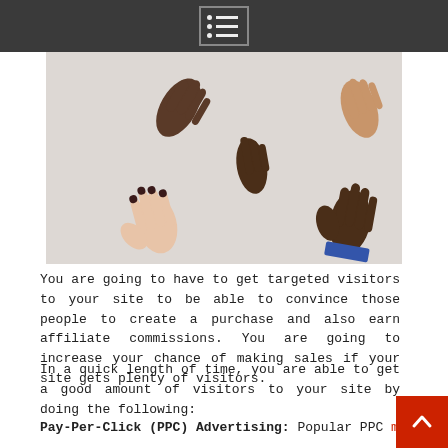[Figure (photo): Multiple hands of diverse skin tones reaching toward a center point, suggesting teamwork or partnership, against a light background.]
You are going to have to get targeted visitors to your site to be able to convince those people to create a purchase and also earn affiliate commissions. You are going to increase your chance of making sales if your site gets plenty of visitors.
In a quick length of time, you are able to get a good amount of visitors to your site by doing the following:
Pay-Per-Click (PPC) Advertising: Popular PPC marketing